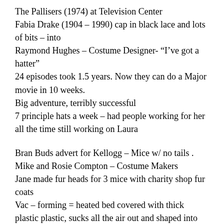The Pallisers (1974) at Television Center
Fabia Drake (1904 – 1990) cap in black lace and lots of bits – into
Raymond Hughes – Costume Designer- “I’ve got a hatter”
24 episodes took 1.5 years. Now they can do a Major movie in 10 weeks.
Big adventure, terribly successful
7 principle hats a week – had people working for her all the time still working on Laura
Bran Buds advert for Kellogg – Mice w/ no tails .
Mike and Rosie Compton – Costume Makers
Jane made fur heads for 3 mice with charity shop fur coats
Vac – forming = heated bed covered with thick plastic plastic, sucks all the air out and shaped into every nook and cranny. Can not have any undercuts so must do a head in halves.